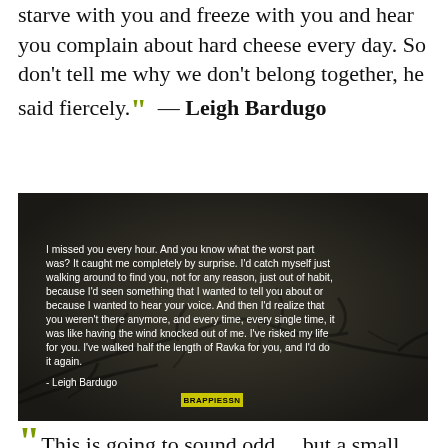starve with you and freeze with you and hear you complain about hard cheese every day. So don't tell me why we don't belong together, he said fiercely.” — Leigh Bardugo
[Figure (photo): Dark-toned image with white text quote: 'I missed you every hour. And you know what the worst part was? It caught me completely by surprise. I'd catch myself just walking around to find you, not for any reason, just out of habit, because I'd seen something that I wanted to tell you about or because I wanted to hear your voice. And then I'd realize that you weren't there anymore, and every time, every single time, it was like having the wind knocked out of me. I've risked my life for you. I've walked half the length of Ravka for you, and I'd do it again. - Leigh Bardugo' with a decorative branch silhouette and yellow badge.]
“ This is going to sound odd ... but a small part of me was happy, sitting with her there. I was